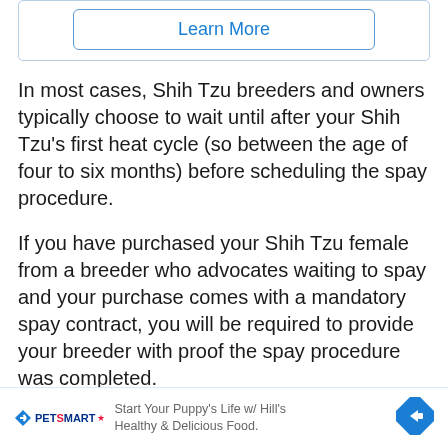[Figure (other): A 'Learn More' button with blue border and blue text inside a light blue outlined container box]
In most cases, Shih Tzu breeders and owners typically choose to wait until after your Shih Tzu's first heat cycle (so between the age of four to six months) before scheduling the spay procedure.
If you have purchased your Shih Tzu female from a breeder who advocates waiting to spay and your purchase comes with a mandatory spay contract, you will be required to provide your breeder with proof the spay procedure was completed.
[Figure (other): PetSmart advertisement banner: 'Start Your Puppy's Life w/ Hill's Healthy & Delicious Food.' with PetSmart logo and a blue diamond arrow icon]